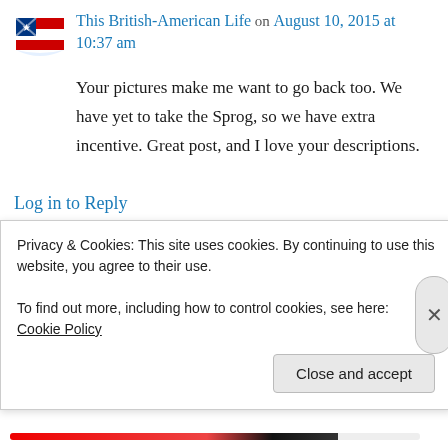This British-American Life on August 10, 2015 at 10:37 am
Your pictures make me want to go back too. We have yet to take the Sprog, so we have extra incentive. Great post, and I love your descriptions.
Log in to Reply
Laura (PA Pict) on August 10, 2015 at 12:29
Privacy & Cookies: This site uses cookies. By continuing to use this website, you agree to their use.
To find out more, including how to control cookies, see here: Cookie Policy
Close and accept